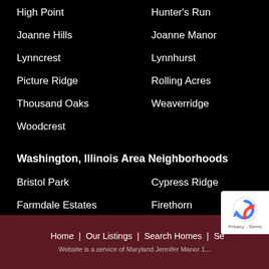High Point
Hunter's Run
Joanne Hills
Joanne Manor
Lynncrest
Lynnhurst
Picture Ridge
Rolling Acres
Thousand Oaks
Weaverridge
Woodcrest
Washington, Illinois Area Neighborhoods
Bristol Park
Cypress Ridge
Farmdale Estates
Firethorn
Mallard Crossing
Northwyck
Timber Creek Estates
Trails Edge in Washington
Home  |  Our Listings  |  Search Homes  |  Se...